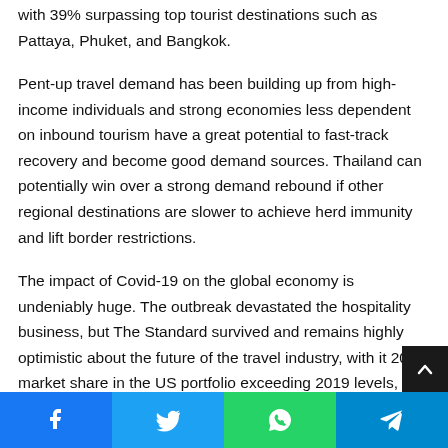...Hua Hin hotel market posted the highest domestic occupancy with 39% surpassing top tourist destinations such as Pattaya, Phuket, and Bangkok.
Pent-up travel demand has been building up from high-income individuals and strong economies less dependent on inbound tourism have a great potential to fast-track recovery and become good demand sources. Thailand can potentially win over a strong demand rebound if other regional destinations are slower to achieve herd immunity and lift border restrictions.
The impact of Covid-19 on the global economy is undeniably huge. The outbreak devastated the hospitality business, but The Standard survived and remains highly optimistic about the future of the travel industry, with it 2021 market share in the US portfolio exceeding 2019 levels, at an average of 104 R...